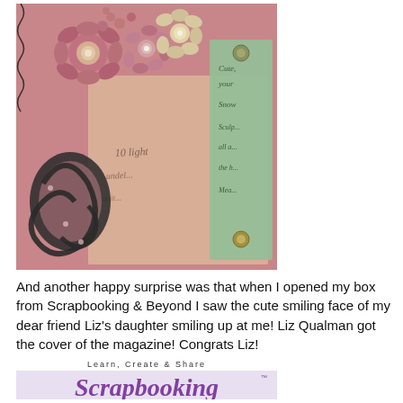[Figure (photo): Close-up photo of a handmade scrapbooking layout featuring pink and cream flower embellishments with pearl centers, dark swirl die-cut, a pink distressed background with handwritten script text, and a green teal tag with cursive writing and brad fasteners.]
And another happy surprise was that when I opened my box from Scrapbooking & Beyond I saw the cute smiling face of my dear friend Liz's daughter smiling up at me! Liz Qualman got the cover of the magazine! Congrats Liz!
[Figure (photo): Partial view of the Scrapbooking magazine cover showing 'Learn, Create & Share' at the top and the large purple stylized 'Scrapbooking' magazine title text below.]